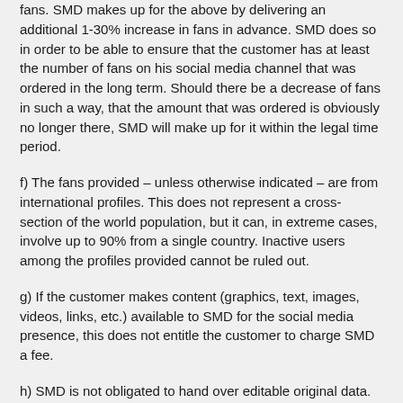fans. SMD makes up for the above by delivering an additional 1-30% increase in fans in advance. SMD does so in order to be able to ensure that the customer has at least the number of fans on his social media channel that was ordered in the long term. Should there be a decrease of fans in such a way, that the amount that was ordered is obviously no longer there, SMD will make up for it within the legal time period.
f) The fans provided – unless otherwise indicated – are from international profiles. This does not represent a cross-section of the world population, but it can, in extreme cases, involve up to 90% from a single country. Inactive users among the profiles provided cannot be ruled out.
g) If the customer makes content (graphics, text, images, videos, links, etc.) available to SMD for the social media presence, this does not entitle the customer to charge SMD a fee.
h) SMD is not obligated to hand over editable original data. This is done on customer request and by separate agreement, and it incurs a fee.